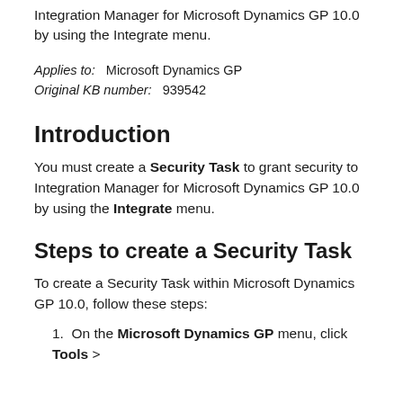Integration Manager for Microsoft Dynamics GP 10.0 by using the Integrate menu.
Applies to:   Microsoft Dynamics GP
Original KB number:   939542
Introduction
You must create a Security Task to grant security to Integration Manager for Microsoft Dynamics GP 10.0 by using the Integrate menu.
Steps to create a Security Task
To create a Security Task within Microsoft Dynamics GP 10.0, follow these steps:
1. On the Microsoft Dynamics GP menu, click Tools >